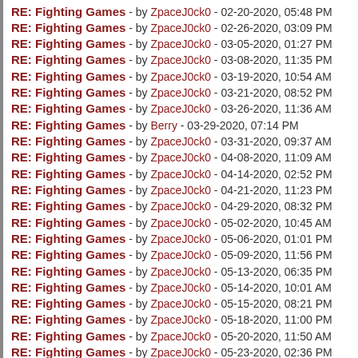RE: Fighting Games - by ZpaceJ0ck0 - 02-20-2020, 05:48 PM
RE: Fighting Games - by ZpaceJ0ck0 - 02-26-2020, 03:09 PM
RE: Fighting Games - by ZpaceJ0ck0 - 03-05-2020, 01:27 PM
RE: Fighting Games - by ZpaceJ0ck0 - 03-08-2020, 11:35 PM
RE: Fighting Games - by ZpaceJ0ck0 - 03-19-2020, 10:54 AM
RE: Fighting Games - by ZpaceJ0ck0 - 03-21-2020, 08:52 PM
RE: Fighting Games - by ZpaceJ0ck0 - 03-26-2020, 11:36 AM
RE: Fighting Games - by Berry - 03-29-2020, 07:14 PM
RE: Fighting Games - by ZpaceJ0ck0 - 03-31-2020, 09:37 AM
RE: Fighting Games - by ZpaceJ0ck0 - 04-08-2020, 11:09 AM
RE: Fighting Games - by ZpaceJ0ck0 - 04-14-2020, 02:52 PM
RE: Fighting Games - by ZpaceJ0ck0 - 04-21-2020, 11:23 PM
RE: Fighting Games - by ZpaceJ0ck0 - 04-29-2020, 08:32 PM
RE: Fighting Games - by ZpaceJ0ck0 - 05-02-2020, 10:45 AM
RE: Fighting Games - by ZpaceJ0ck0 - 05-06-2020, 01:01 PM
RE: Fighting Games - by ZpaceJ0ck0 - 05-09-2020, 11:56 PM
RE: Fighting Games - by ZpaceJ0ck0 - 05-13-2020, 06:35 PM
RE: Fighting Games - by ZpaceJ0ck0 - 05-14-2020, 10:01 AM
RE: Fighting Games - by ZpaceJ0ck0 - 05-15-2020, 08:21 PM
RE: Fighting Games - by ZpaceJ0ck0 - 05-18-2020, 11:00 PM
RE: Fighting Games - by ZpaceJ0ck0 - 05-20-2020, 11:50 AM
RE: Fighting Games - by ZpaceJ0ck0 - 05-23-2020, 02:36 PM
RE: Fighting Games - by ZpaceJ0ck0 - 05-27-2020, 11:19 PM
RE: Fighting Games - by ZpaceJ0ck0 - 06-01-2020, 06:13 PM
RE: Fighting Games - by ZpaceJ0ck0 - 06-04-2020, 07:34 AM